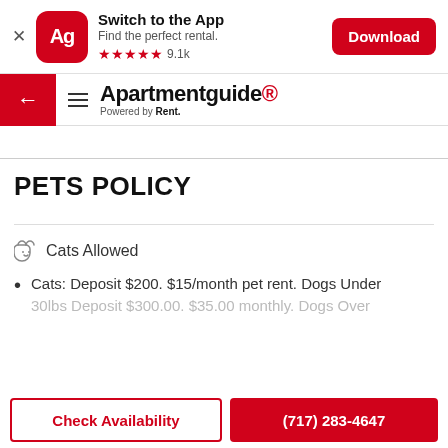[Figure (screenshot): App download banner with Apartment Guide Ag icon, 'Switch to the App', 'Find the perfect rental.', 5 red stars, 9.1k reviews, and red Download button.]
Apartmentguide Powered by Rent.
PETS POLICY
Cats Allowed
Cats: Deposit $200. $15/month pet rent. Dogs Under 30lbs. Deposit $300.00. $35.00 monthly. Dogs Over
Check Availability   (717) 283-4647